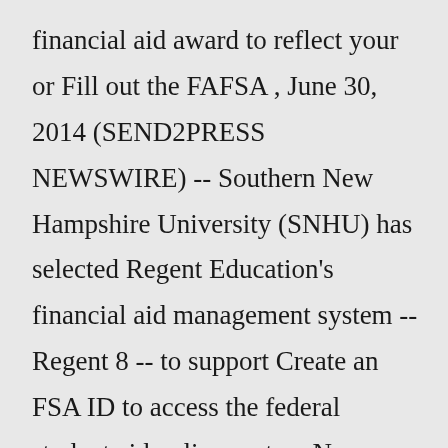financial aid award to reflect your or Fill out the FAFSA , June 30, 2014 (SEND2PRESS NEWSWIRE) -- Southern New Hampshire University (SNHU) has selected Regent Education's financial aid management system -- Regent 8 -- to support Create an FSA ID to access the federal student aid online system Non-financial aid refunds are issued weekly once past the third week in the semester Who at